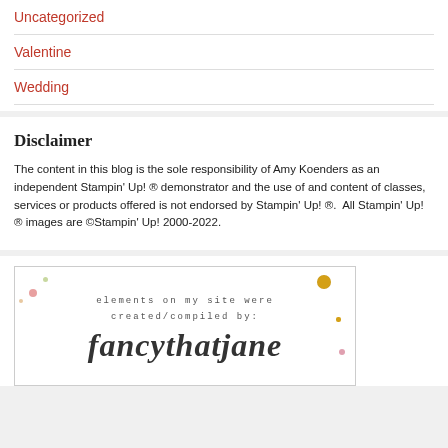Uncategorized
Valentine
Wedding
Disclaimer
The content in this blog is the sole responsibility of Amy Koenders as an independent Stampin' Up! ® demonstrator and the use of and content of classes, services or products offered is not endorsed by Stampin' Up! ®.  All Stampin' Up! ® images are ©Stampin' Up! 2000-2022.
[Figure (illustration): A decorative image with small monospaced text reading 'elements on my site were created/compiled by:' and cursive script text reading 'fancythatjane' with confetti and floral decorations.]